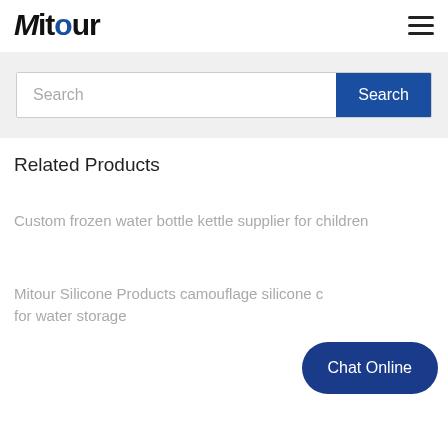Mitour
Search
Related Products
Custom frozen water bottle kettle supplier for children
Mitour Silicone Products camouflage silicone c for water storage
Chat Online